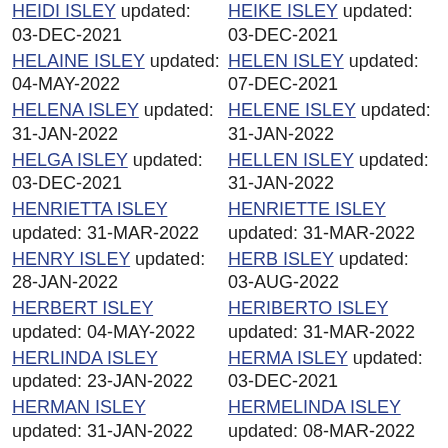HEIDI ISLEY updated: 03-DEC-2021
HELAINE ISLEY updated: 04-MAY-2022
HELENA ISLEY updated: 31-JAN-2022
HELGA ISLEY updated: 03-DEC-2021
HENRIETTA ISLEY updated: 31-MAR-2022
HENRY ISLEY updated: 28-JAN-2022
HERBERT ISLEY updated: 04-MAY-2022
HERLINDA ISLEY updated: 23-JAN-2022
HERMAN ISLEY updated: 31-JAN-2022
HERMILA ISLEY updated: 04-MAY-2022
HEIKE ISLEY updated: 03-DEC-2021
HELEN ISLEY updated: 07-DEC-2021
HELENE ISLEY updated: 31-JAN-2022
HELLEN ISLEY updated: 31-JAN-2022
HENRIETTE ISLEY updated: 31-MAR-2022
HERB ISLEY updated: 03-AUG-2022
HERIBERTO ISLEY updated: 31-MAR-2022
HERMA ISLEY updated: 03-DEC-2021
HERMELINDA ISLEY updated: 08-MAR-2022
HERMINA ISLEY updated: 04-MAY-2022